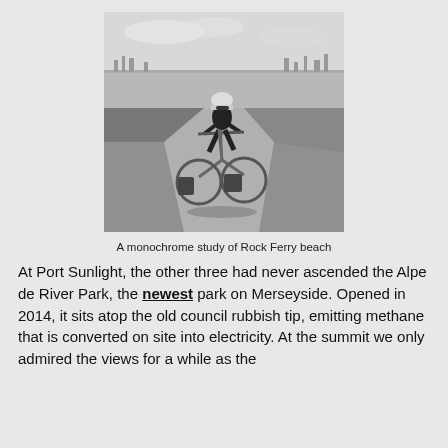[Figure (photo): Black and white photograph of a cyclist riding a loaded touring bicycle on a path near Rock Ferry beach, with flat fields and a city skyline visible in the background.]
A monochrome study of Rock Ferry beach
At Port Sunlight, the other three had never ascended the Alpe de River Park, the newest park on Merseyside. Opened in 2014, it sits atop the old council rubbish tip, emitting methane that is converted on site into electricity. At the summit we only admired the views for a while as the